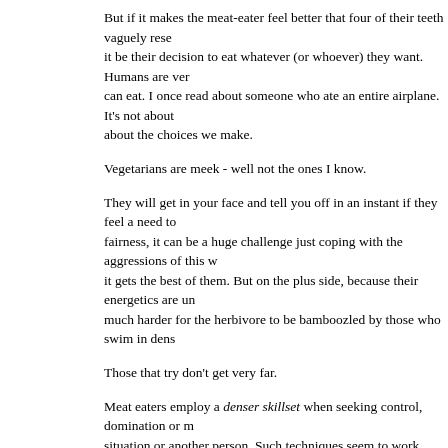But if it makes the meat-eater feel better that four of their teeth vaguely rese... it be their decision to eat whatever (or whoever) they want. Humans are ver... can eat. I once read about someone who ate an entire airplane. It's not about... about the choices we make.
Vegetarians are meek - well not the ones I know.
They will get in your face and tell you off in an instant if they feel a need to... fairness, it can be a huge challenge just coping with the aggressions of this w... it gets the best of them. But on the plus side, because their energetics are un... much harder for the herbivore to be bamboozled by those who swim in dens...
Those that try don't get very far.
Meat eaters employ a denser skillset when seeking control, domination or m... situation or another person. Such techniques seem to work pretty well on oth... they operate within the same vibrational strata.
Ultimately the bigger dog wins - or something like that.
Vegetarians usually see through mal-intent and disingenuous motivations ju... can see through a plate of glass. But they are less apt to engage in physical c...
You never really hear of a violent vegetarian, except for perhaps Hitler, alth...
Imagine the headline,